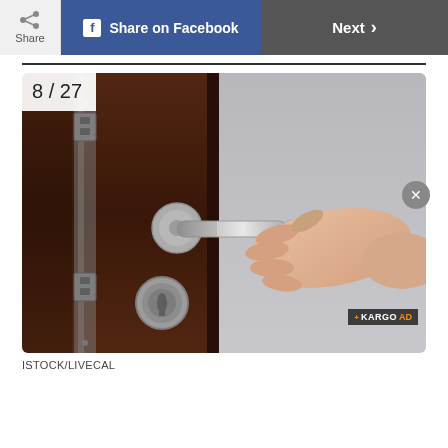Share | Share on Facebook | Next >
[Figure (photo): A hand gripping a stainless steel door lever handle on a dark brown wooden door with lock hardware visible. Photo counter overlay showing 8/27 in upper left.]
ISTOCK/LIVECAL